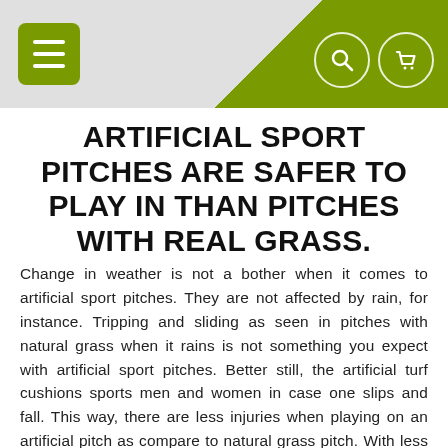Navigation header with menu button and search/cart icons
ARTIFICIAL SPORT PITCHES ARE SAFER TO PLAY IN THAN PITCHES WITH REAL GRASS.
Change in weather is not a bother when it comes to artificial sport pitches. They are not affected by rain, for instance. Tripping and sliding as seen in pitches with natural grass when it rains is not something you expect with artificial sport pitches. Better still, the artificial turf cushions sports men and women in case one slips and fall. This way, there are less injuries when playing on an artificial pitch as compare to natural grass pitch. With less injuries, a team is able to play its best players often hence winning more games. Since artificial pitches are weather friendly, there will be no need to cancel games due to bad weather. This makes artificial pitch